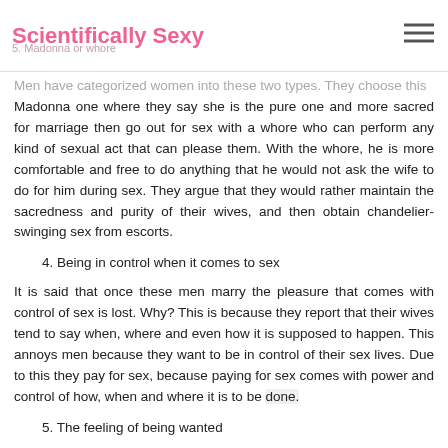Scientifically Sexy
marriage.
5. Madonna or whore
Men have categorized women into these two types. They choose this Madonna one where they say she is the pure one and more sacred for marriage then go out for sex with a whore who can perform any kind of sexual act that can please them. With the whore, he is more comfortable and free to do anything that he would not ask the wife to do for him during sex. They argue that they would rather maintain the sacredness and purity of their wives, and then obtain chandelier-swinging sex from escorts.
4. Being in control when it comes to sex
It is said that once these men marry the pleasure that comes with control of sex is lost. Why? This is because they report that their wives tend to say when, where and even how it is supposed to happen. This annoys men because they want to be in control of their sex lives. Due to this they pay for sex, because paying for sex comes with power and control of how, when and where it is to be done.
5. The feeling of being wanted